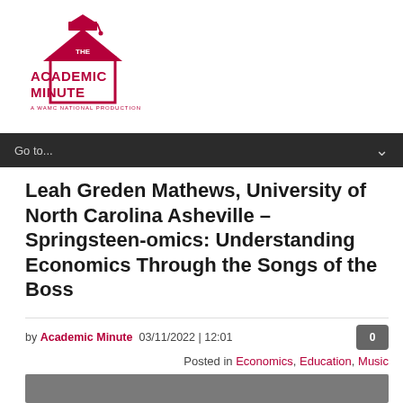[Figure (logo): The Academic Minute – A WAMC National Production logo with graduation cap icon in dark red/crimson]
Go to...
Leah Greden Mathews, University of North Carolina Asheville – Springsteen-omics: Understanding Economics Through the Songs of the Boss
by Academic Minute  03/11/2022 | 12:01
Posted in Economics, Education, Music
[Figure (photo): Gray media thumbnail area at bottom of page]